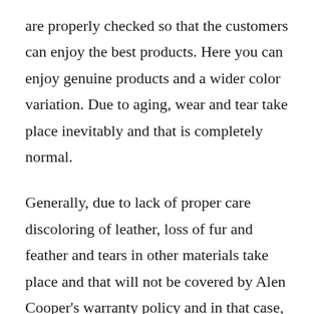are properly checked so that the customers can enjoy the best products. Here you can enjoy genuine products and a wider color variation. Due to aging, wear and tear take place inevitably and that is completely normal.
Generally, due to lack of proper care discoloring of leather, loss of fur and feather and tears in other materials take place and that will not be covered by Alen Cooper’s warranty policy and in that case, you may have to pay a fee for repair (if the repair is possible). Mainly the delicate fabrics are engaged in fashion